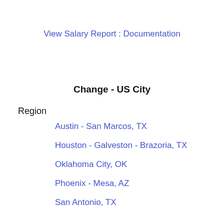View Salary Report : Documentation
Change - US City
Region
Austin - San Marcos, TX
Houston - Galveston - Brazoria, TX
Oklahoma City, OK
Phoenix - Mesa, AZ
San Antonio, TX